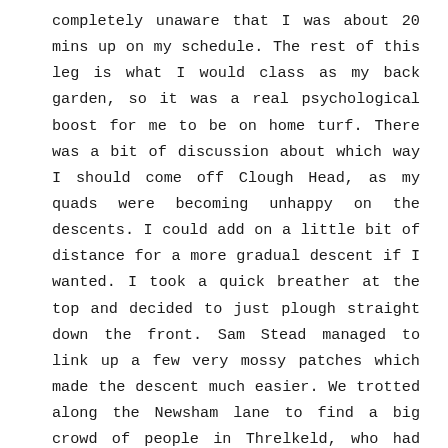completely unaware that I was about 20 mins up on my schedule. The rest of this leg is what I would class as my back garden, so it was a real psychological boost for me to be on home turf. There was a bit of discussion about which way I should come off Clough Head, as my quads were becoming unhappy on the descents. I could add on a little bit of distance for a more gradual descent if I wanted. I took a quick breather at the top and decided to just plough straight down the front. Sam Stead managed to link up a few very mossy patches which made the descent much easier. We trotted along the Newsham lane to find a big crowd of people in Threlkeld, who had all come out to cheer me through.